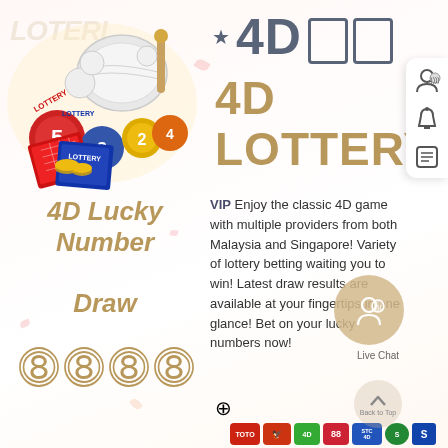[Figure (illustration): Lottery balls, cards, and lottery machine illustration with the word LOTTERY visible. Balls numbered 5, 3, 2, 4 and other lottery equipment shown in color.]
4D Lucky Number Draw 8888
4D □□ 4D LOTTERY
VIP Enjoy the classic 4D game with multiple providers from both Malaysia and Singapore! Variety of lottery betting waiting you to win! Latest draw results are available at your fingertips in one glance! Bet on your lucky numbers now!
[Figure (logo): Bottom row of lottery provider logos: TOTO, Damacai (bird logo), 4D, 88, STC 4D, Sports Toto (green), and another provider logo]
[Figure (infographic): Right sidebar icons: customer support (person with headset), notification bell, and news/article icon. Live Chat bubble with agent icon. Back to Top circle button.]